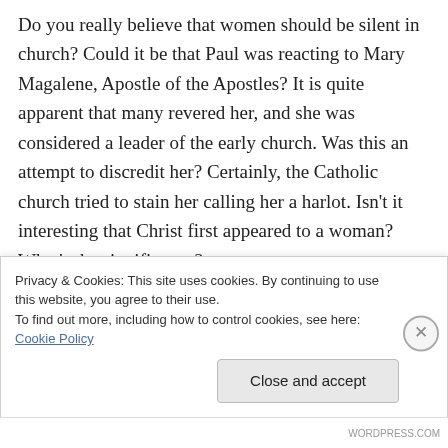Do you really believe that women should be silent in church? Could it be that Paul was reacting to Mary Magalene, Apostle of the Apostles? It is quite apparent that many revered her, and she was considered a leader of the early church. Was this an attempt to discredit her? Certainly, the Catholic church tried to stain her calling her a harlot. Isn't it interesting that Christ first appeared to a woman? What's the significance?
Privacy & Cookies: This site uses cookies. By continuing to use this website, you agree to their use.
To find out more, including how to control cookies, see here: Cookie Policy
Close and accept